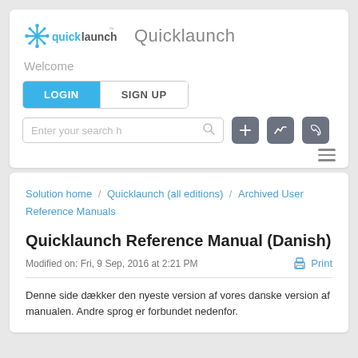[Figure (logo): Quicklaunch logo with star/cross icon and 'quicklaunch' wordmark, followed by 'Quicklaunch' gray text]
Welcome
[Figure (screenshot): LOGIN and SIGN UP tab buttons]
[Figure (screenshot): Search bar with placeholder 'Enter your search h', plus three dark icon buttons (plus, chart, phone)]
[Figure (screenshot): Hamburger menu icon (three horizontal lines)]
Solution home / Quicklaunch (all editions) / Archived User Reference Manuals
Quicklaunch Reference Manual (Danish)
Modified on: Fri, 9 Sep, 2016 at 2:21 PM
Print
Denne side dækker den nyeste version af vores danske version af manualen. Andre sprog er forbundet nedenfor.